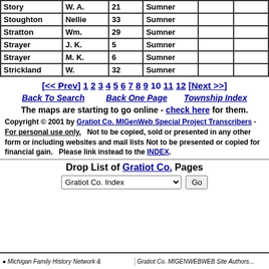| Last Name | First | Age | Township |  |  |
| --- | --- | --- | --- | --- | --- |
| Story | W. A. | 21 | Sumner |  |  |
| Stoughton | Nellie | 33 | Sumner |  |  |
| Stratton | Wm. | 29 | Sumner |  |  |
| Strayer | J. K. | 5 | Sumner |  |  |
| Strayer | M. K. | 6 | Sumner |  |  |
| Strickland | W. | 32 | Sumner |  |  |
[<< Prev] 1 2 3 4 5 6 7 8 9 10 11 12 [Next >>]
Back To Search   Back One Page   Township Index
The maps are starting to go online - check here for them.
Copyright © 2001 by Gratiot Co. MIGenWeb Special Project Transcribers - For personal use only.   Not to be copied, sold or presented in any other form or including websites and mail lists Not to be presented or copied for financial gain.   Please link instead to the INDEX.
Drop List of Gratiot Co. Pages
Gratiot Co. Index [dropdown] Go
Michigan Family History Network & ... | Gratiot Co. MIGENWEBWEB Site Authors...